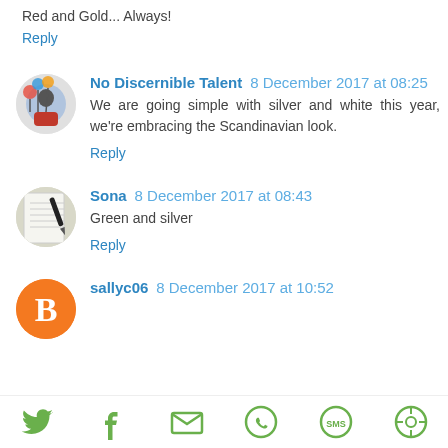Red and Gold... Always!
Reply
No Discernible Talent 8 December 2017 at 08:25
We are going simple with silver and white this year, we're embracing the Scandinavian look.
Reply
Sona 8 December 2017 at 08:43
Green and silver
Reply
sallyc06 8 December 2017 at 10:52
[Figure (infographic): Social share bar with icons for Twitter, Facebook, Email, WhatsApp, SMS, and another sharing service]